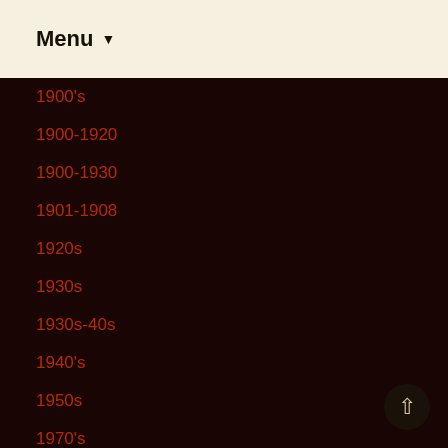Menu ▼
1900's
1900-1920
1900-1930
1901-1908
1920s
1930s
1930s-40s
1940's
1950s
1970's
1980's
19antique
19th